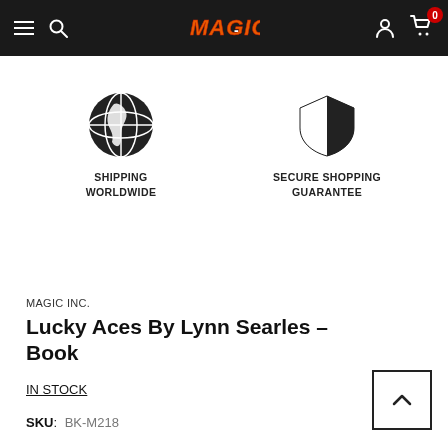MAGIC INC. store navigation header with hamburger menu, search, logo, account, and cart (0 items)
[Figure (illustration): Globe icon representing worldwide shipping]
SHIPPING WORLDWIDE
[Figure (illustration): Shield icon representing secure shopping guarantee]
SECURE SHOPPING GUARANTEE
MAGIC INC.
Lucky Aces By Lynn Searles – Book
IN STOCK
SKU: BK-M218